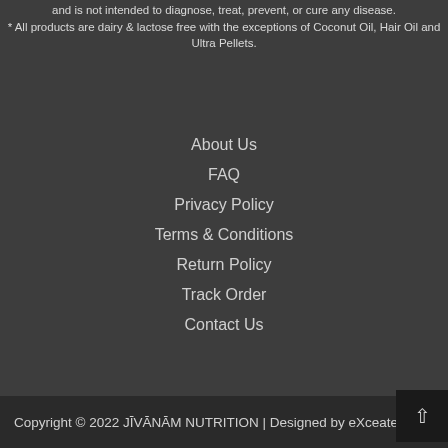and is not intended to diagnose, treat, prevent, or cure any disease. * All products are dairy & lactose free with the exceptions of Coconut Oil, Hair Oil and Ultra Pellets.
About Us
FAQ
Privacy Policy
Terms & Conditions
Return Policy
Track Order
Contact Us
Copyright © 2022 JĪVĀNĀM NUTRITION | Designed by eXce  ate